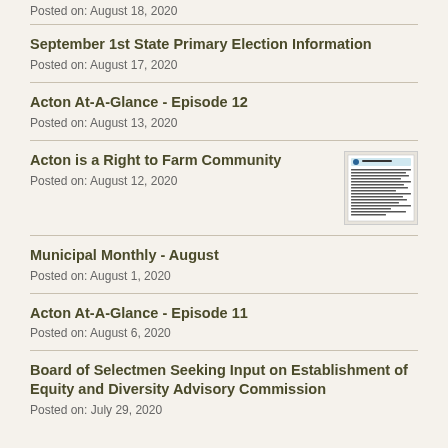Posted on: August 18, 2020
September 1st State Primary Election Information
Posted on: August 17, 2020
Acton At-A-Glance - Episode 12
Posted on: August 13, 2020
Acton is a Right to Farm Community
Posted on: August 12, 2020
[Figure (screenshot): Thumbnail image of a document related to Acton Right to Farm Community]
Municipal Monthly - August
Posted on: August 1, 2020
Acton At-A-Glance - Episode 11
Posted on: August 6, 2020
Board of Selectmen Seeking Input on Establishment of Equity and Diversity Advisory Commission
Posted on: July 29, 2020